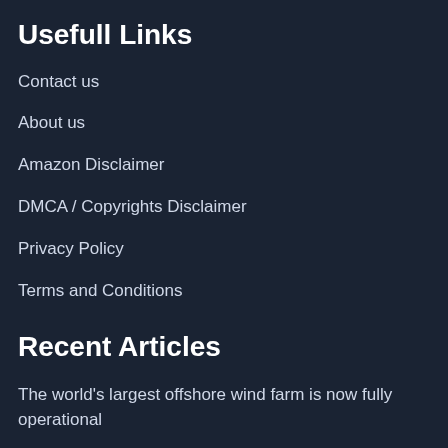Usefull Links
Contact us
About us
Amazon Disclaimer
DMCA / Copyrights Disclaimer
Privacy Policy
Terms and Conditions
Recent Articles
The world's largest offshore wind farm is now fully operational
We're making a buy in this down market but also a rare